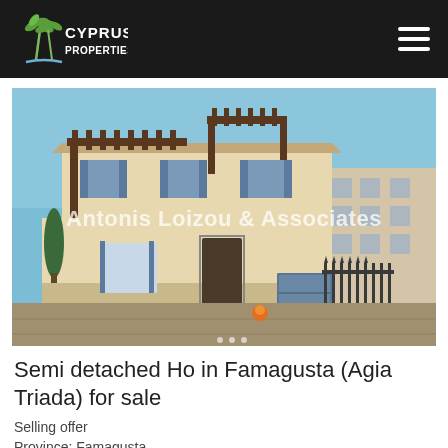Cyprus Properties
[Figure (photo): Exterior photo of a semi-detached house with pergola, blue shutters, beige render, iron gate, and driveway. Watermark reads 'Antonis Loizou & Associates'.]
Semi detached Ho in Famagusta (Agia Triada) for sale
Selling offer
Province: Famagusta